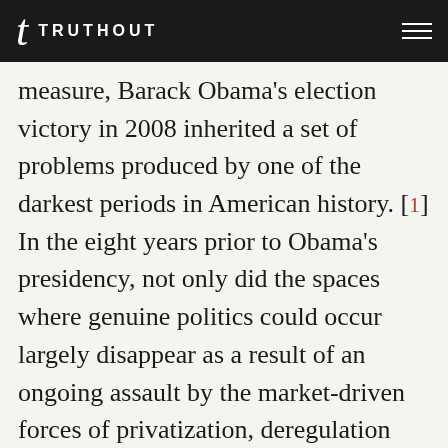t TRUTHOUT
measure, Barack Obama's election victory in 2008 inherited a set of problems produced by one of the darkest periods in American history. [1] In the eight years prior to Obama's presidency, not only did the spaces where genuine politics could occur largely disappear as a result of an ongoing assault by the market-driven forces of privatization, deregulation and unrestrained corporate power, but there was also a radical hardening of the culture that increasingly disparaged democratic values, the public good and human dignity – and with these